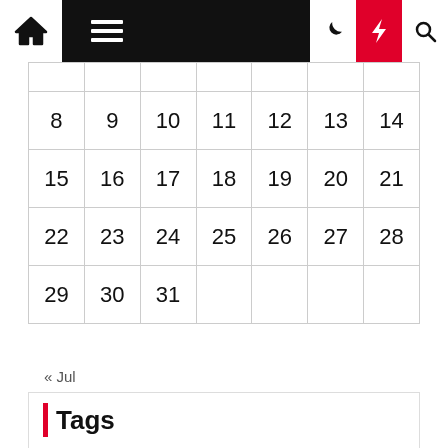Navigation bar with home, menu, dark mode, bolt, search icons
|  |  |  |  |  |  |  |
| --- | --- | --- | --- | --- | --- | --- |
|  |  |  |  |  |  |  |
| 8 | 9 | 10 | 11 | 12 | 13 | 14 |
| 15 | 16 | 17 | 18 | 19 | 20 | 21 |
| 22 | 23 | 24 | 25 | 26 | 27 | 28 |
| 29 | 30 | 31 |  |  |  |  |
« Jul
Tags
ADMINISTRATION
ADORNING
ARCHITECTURAL
BUSINESS
COMPUTER
CONCEPTS
DECOR